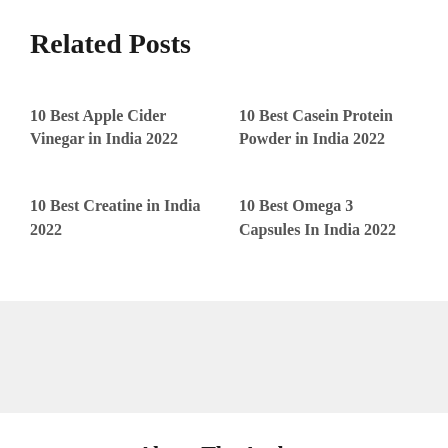Related Posts
10 Best Apple Cider Vinegar in India 2022
10 Best Casein Protein Powder in India 2022
10 Best Creatine in India 2022
10 Best Omega 3 Capsules In India 2022
About The Author